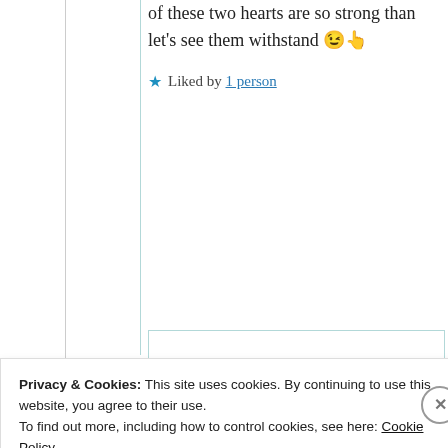of these two hearts are so strong than let's see them withstand 😉👆
★ Liked by 1 person
Suma Reddy
6th Sep 2021 at 1:10 pm
Privacy & Cookies: This site uses cookies. By continuing to use this website, you agree to their use.
To find out more, including how to control cookies, see here: Cookie Policy
Close and accept